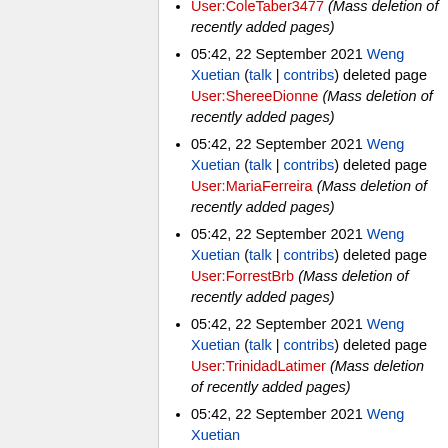User:ColeTaber3477 (Mass deletion of recently added pages)
05:42, 22 September 2021 Weng Xuetian (talk | contribs) deleted page User:ShereeDionne (Mass deletion of recently added pages)
05:42, 22 September 2021 Weng Xuetian (talk | contribs) deleted page User:MariaFerreira (Mass deletion of recently added pages)
05:42, 22 September 2021 Weng Xuetian (talk | contribs) deleted page User:ForrestBrb (Mass deletion of recently added pages)
05:42, 22 September 2021 Weng Xuetian (talk | contribs) deleted page User:TrinidadLatimer (Mass deletion of recently added pages)
05:42, 22 September 2021 Weng Xuetian (talk | contribs) deleted page